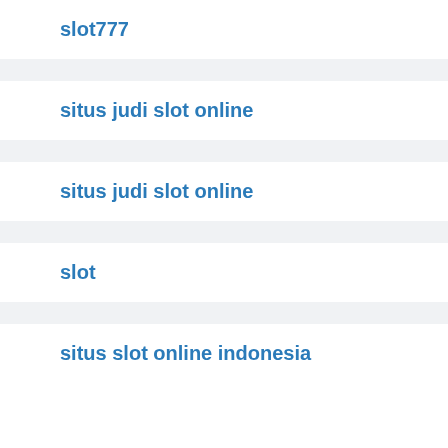slot777
situs judi slot online
situs judi slot online
slot
situs slot online indonesia